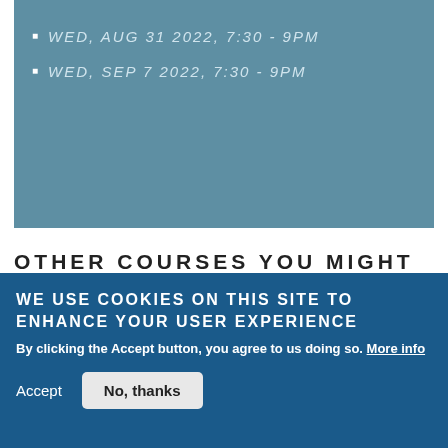WED, AUG 31 2022, 7:30 - 9PM
WED, SEP 7 2022, 7:30 - 9PM
OTHER COURSES YOU MIGHT LIKE
INTRODUCTION TO 20TH CENTURY MUSIC
A HISTORY OF CLASSICAL MUSIC FOR TEENAGERS
WE USE COOKIES ON THIS SITE TO ENHANCE YOUR USER EXPERIENCE
By clicking the Accept button, you agree to us doing so. More info
Accept
No, thanks